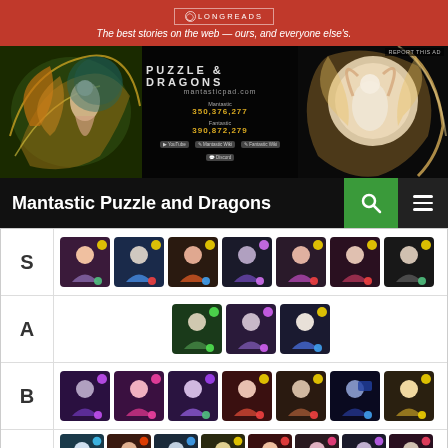[Figure (infographic): Longreads advertisement banner in red with tagline: 'The best stories on the web — ours, and everyone else's.']
[Figure (infographic): Puzzle & Dragons game advertisement banner showing anime dragon artwork on left and right, with center text: PUZZLE & DRAGONS, mantasticpad.com, numbers 350,376,277 and 390,872,279. REPORT THIS AD label.]
Mantastic Puzzle and Dragons
| Tier | Characters |
| --- | --- |
| S | 7 character icons |
| A | 3 character icons |
| B | 7 character icons |
| C | 10+ character icons |
[Figure (screenshot): Follow button with icon in bottom right corner, with ... menu dots]